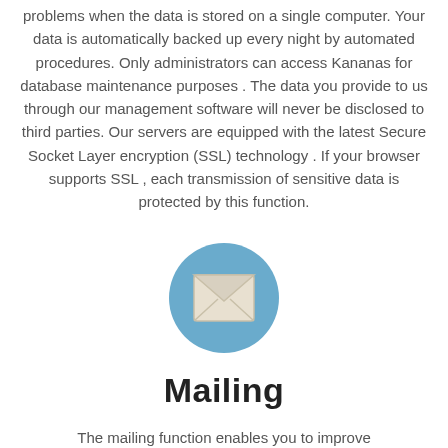problems when the data is stored on a single computer. Your data is automatically backed up every night by automated procedures. Only administrators can access Kananas for database maintenance purposes . The data you provide to us through our management software will never be disclosed to third parties. Our servers are equipped with the latest Secure Socket Layer encryption (SSL) technology . If your browser supports SSL , each transmission of sensitive data is protected by this function.
[Figure (illustration): A blue circle icon containing a white envelope/mail symbol]
Mailing
The mailing function enables you to improve communication with your contacts. You can define